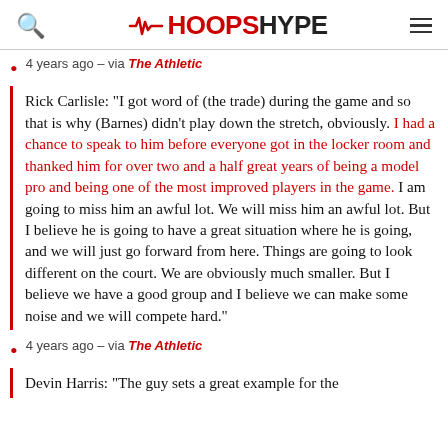HoopsHype
4 years ago – via The Athletic
Rick Carlisle: "I got word of (the trade) during the game and so that is why (Barnes) didn't play down the stretch, obviously. I had a chance to speak to him before everyone got in the locker room and thanked him for over two and a half great years of being a model pro and being one of the most improved players in the game. I am going to miss him an awful lot. We will miss him an awful lot. But I believe he is going to have a great situation where he is going, and we will just go forward from here. Things are going to look different on the court. We are obviously much smaller. But I believe we have a good group and I believe we can make some noise and we will compete hard."
4 years ago – via The Athletic
Devin Harris: "The guy sets a great example for the